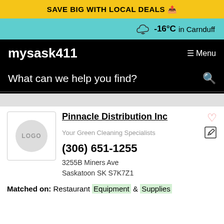SAVE BIG WITH LOCAL DEALS
-16°C in Carnduff
mysask411
Menu
What can we help you find?
[Figure (logo): LOGO placeholder circle]
Pinnacle Distribution Inc
Your Green Cleaning Specialists
(306) 651-1255
3255B Miners Ave
Saskatoon SK S7K7Z1
Matched on: Restaurant Equipment & Supplies